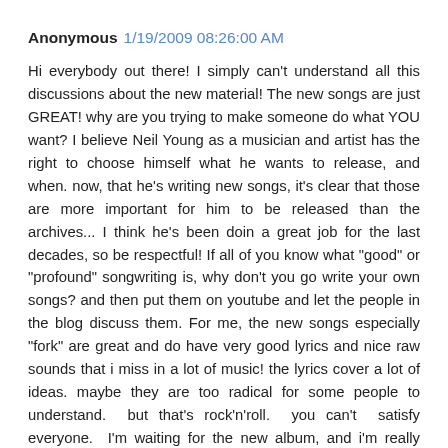Anonymous 1/19/2009 08:26:00 AM
Hi everybody out there! I simply can't understand all this discussions about the new material! The new songs are just GREAT! why are you trying to make someone do what YOU want? I believe Neil Young as a musician and artist has the right to choose himself what he wants to release, and when. now, that he's writing new songs, it's clear that those are more important for him to be released than the archives... I think he's been doin a great job for the last decades, so be respectful! If all of you know what "good" or "profound" songwriting is, why don't you go write your own songs? and then put them on youtube and let the people in the blog discuss them. For me, the new songs especially "fork" are great and do have very good lyrics and nice raw sounds that i miss in a lot of music! the lyrics cover a lot of ideas. maybe they are too radical for some people to understand. but that's rock'n'roll. you can't satisfy everyone. I'm waiting for the new album, and i'm really happy about it!
peace,
kleon